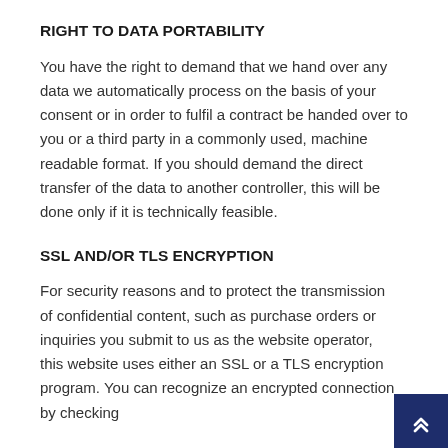RIGHT TO DATA PORTABILITY
You have the right to demand that we hand over any data we automatically process on the basis of your consent or in order to fulfil a contract be handed over to you or a third party in a commonly used, machine readable format. If you should demand the direct transfer of the data to another controller, this will be done only if it is technically feasible.
SSL AND/OR TLS ENCRYPTION
For security reasons and to protect the transmission of confidential content, such as purchase orders or inquiries you submit to us as the website operator, this website uses either an SSL or a TLS encryption program. You can recognize an encrypted connection by checking